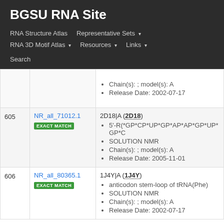BGSU RNA Site
RNA Structure Atlas | Representative Sets | RNA 3D Motif Atlas | Resources | Links | Search
| # | ID | Details |
| --- | --- | --- |
|  |  | Chain(s): ; model(s): A
Release Date: 2002-07-17 |
| 605 | NR_all_71012.1 EXACT MATCH | 2D18|A (2D18)
5'-R(*GP*CP*UP*GP*AP*AP*GP*UP*GP*C...
SOLUTION NMR
Chain(s): ; model(s): A
Release Date: 2005-11-01 |
| 606 | NR_all_80365.1 EXACT MATCH | 1J4Y|A (1J4Y)
anticodon stem-loop of tRNA(Phe)
SOLUTION NMR
Chain(s): ; model(s): A
Release Date: 2002-07-17 |